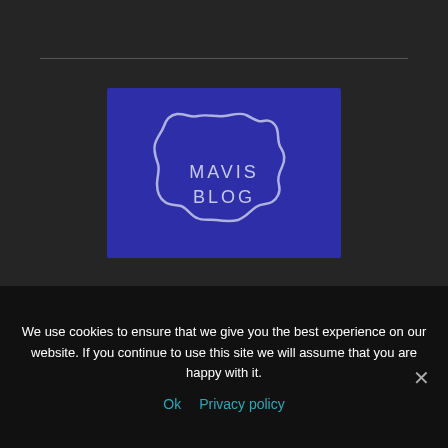[Figure (logo): Mavis Blog logo: dark blue rectangle with a wavy oval badge containing text 'MAVIS BLOG' in white hand-drawn style lettering]
ABOUT US
We use cookies to ensure that we give you the best experience on our website. If you continue to use this site we will assume that you are happy with it.
Ok  Privacy policy